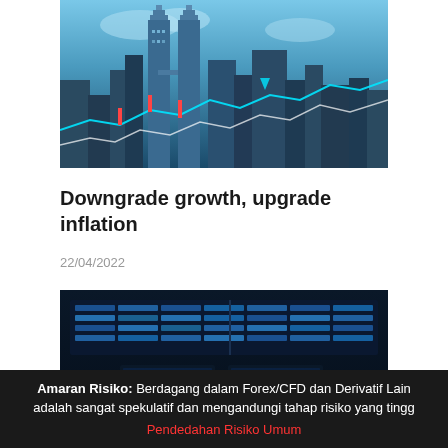[Figure (photo): City skyline with financial chart overlay, blue-toned digital finance illustration]
Downgrade growth, upgrade inflation
22/04/2022
[Figure (photo): Dark trading room with multiple monitors showing financial dashboards and charts]
Amaran Risiko: Berdagang dalam Forex/CFD dan Derivatif Lain adalah sangat spekulatif dan mengandungi tahap risiko yang tingg
Pendedahan Risiko Umum